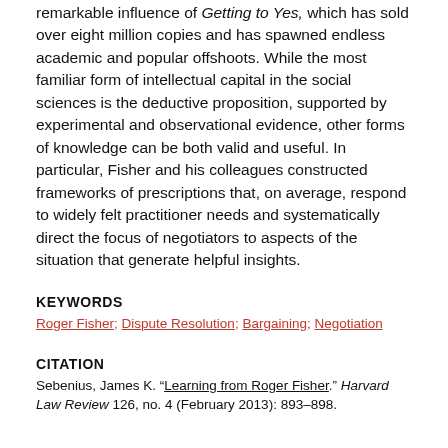remarkable influence of Getting to Yes, which has sold over eight million copies and has spawned endless academic and popular offshoots. While the most familiar form of intellectual capital in the social sciences is the deductive proposition, supported by experimental and observational evidence, other forms of knowledge can be both valid and useful. In particular, Fisher and his colleagues constructed frameworks of prescriptions that, on average, respond to widely felt practitioner needs and systematically direct the focus of negotiators to aspects of the situation that generate helpful insights.
KEYWORDS
Roger Fisher; Dispute Resolution; Bargaining; Negotiation
CITATION
Sebenius, James K. "Learning from Roger Fisher." Harvard Law Review 126, no. 4 (February 2013): 893–898.